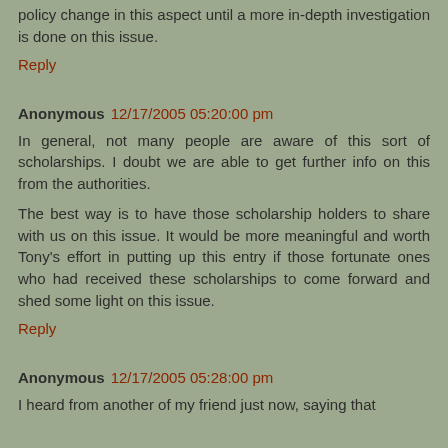policy change in this aspect until a more in-depth investigation is done on this issue.
Reply
Anonymous 12/17/2005 05:20:00 pm
In general, not many people are aware of this sort of scholarships. I doubt we are able to get further info on this from the authorities.
The best way is to have those scholarship holders to share with us on this issue. It would be more meaningful and worth Tony's effort in putting up this entry if those fortunate ones who had received these scholarships to come forward and shed some light on this issue.
Reply
Anonymous 12/17/2005 05:28:00 pm
I heard from another of my friend just now, saying that